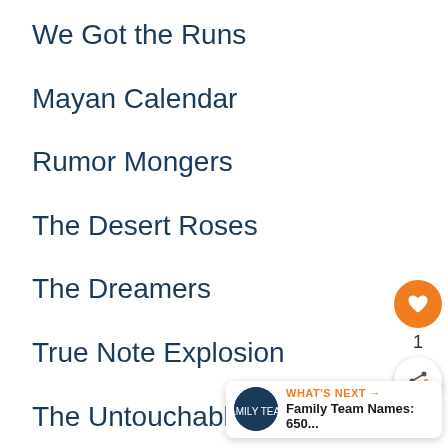We Got the Runs
Mayan Calendar
Rumor Mongers
The Desert Roses
The Dreamers
True Note Explosion
The Untouchables
Pulverizers
Armada